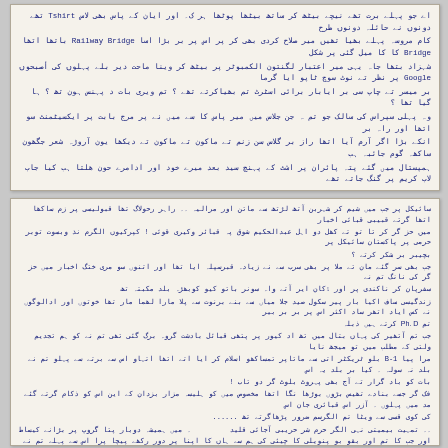[Figure (photo): Handwritten Urdu text on off-white paper, upper document section. Multiple lines of cursive Urdu script in blue ink discussing topics including Railway Bridge, Google, and Flat Rate Contract.]
[Figure (photo): Handwritten Urdu text on off-white paper, lower document section. Multiple paragraphs of cursive Urdu script in blue ink with references to Ph.D and other topics.]